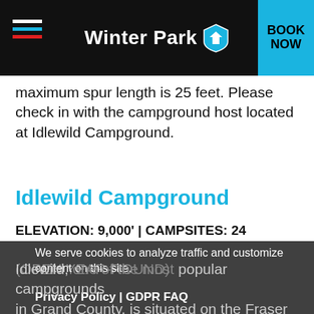Winter Park — BOOK NOW
maximum spur length is 25 feet. Please check in with the campground host located at Idlewild Campground.
Idlewild Campground
ELEVATION: 9,000' | CAMPSITES: 24
We serve cookies to analyze traffic and customize content on this site.
Privacy Policy | GDPR FAQ
GOT IT!
Idlewild, one of the most popular campgrounds in Grand County, is situated on the Fraser River just south of Winter Park on the Fraser River Trail. There are 24 campsites on a first-come, first-serve basis with a limit of two vehicles per